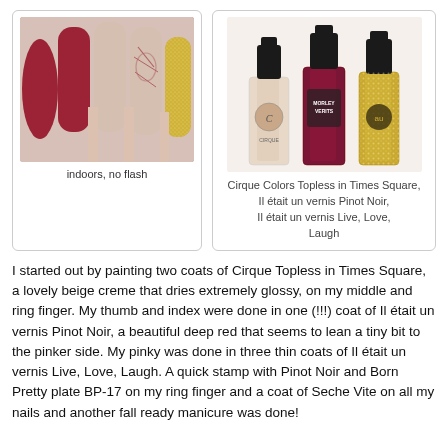[Figure (photo): Close-up photo of a hand with nail art showing dark red/burgundy nails on thumb and index finger, a stamped patterned nail on ring finger, and glittery gold nail on pinky. Photo taken indoors with no flash.]
indoors, no flash
[Figure (photo): Three nail polish bottles: a beige/nude polish (Cirque Colors Topless in Times Square), a deep burgundy/red polish (Il était un vernis Pinot Noir), and a gold glitter polish (Il était un vernis Live, Love, Laugh).]
Cirque Colors Topless in Times Square, Il était un vernis Pinot Noir, Il était un vernis Live, Love, Laugh
I started out by painting two coats of Cirque Topless in Times Square, a lovely beige creme that dries extremely glossy, on my middle and ring finger. My thumb and index were done in one (!!!) coat of Il était un vernis Pinot Noir, a beautiful deep red that seems to lean a tiny bit to the pinker side. My pinky was done in three thin coats of Il était un vernis Live, Love, Laugh. A quick stamp with Pinot Noir and Born Pretty plate BP-17 on my ring finger and a coat of Seche Vite on all my nails and another fall ready manicure was done!